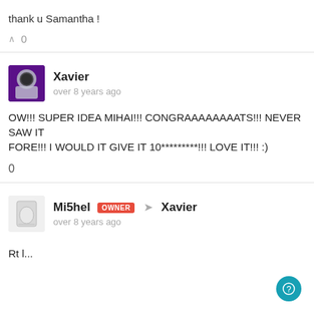thank u Samantha !
^ 0
Xavier
over 8 years ago
OW!!! SUPER IDEA MIHAI!!! CONGRAAAAAAAATS!!! NEVER SAW IT FORE!!! I WOULD IT GIVE IT 10*********!!! LOVE IT!!! :)
0
Mi5hel OWNER → Xavier
over 8 years ago
Rt l...